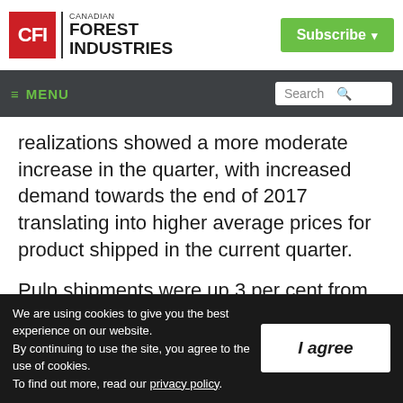[Figure (logo): Canadian Forest Industries logo with CFI in red square and text, plus green Subscribe button]
≡ MENU   Search
realizations showed a more moderate increase in the quarter, with increased demand towards the end of 2017 translating into higher average prices for product shipped in the current quarter.
Pulp shipments were up 3 per cent from the
We are using cookies to give you the best experience on our website. By continuing to use the site, you agree to the use of cookies. To find out more, read our privacy policy.